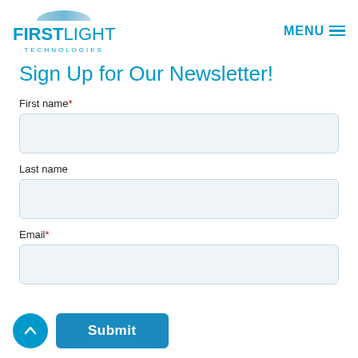[Figure (logo): FirstLight Technologies logo with arc above text and 'TECHNOLOGIES' subtitle]
MENU ≡
Sign Up for Our Newsletter!
First name*
Last name
Email*
Submit